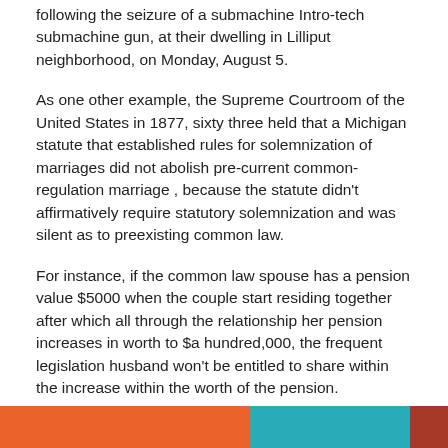following the seizure of a submachine Intro-tech submachine gun, at their dwelling in Lilliput neighborhood, on Monday, August 5.
As one other example, the Supreme Courtroom of the United States in 1877, sixty three held that a Michigan statute that established rules for solemnization of marriages did not abolish pre-current common-regulation marriage , because the statute didn't affirmatively require statutory solemnization and was silent as to preexisting common law.
For instance, if the common law spouse has a pension value $5000 when the couple start residing together after which all through the relationship her pension increases in worth to $a hundred,000, the frequent legislation husband won't be entitled to share within the increase within the worth of the pension.
[Figure (stacked-bar-chart): Partial view of a horizontal stacked bar chart with orange, teal, and dark red/brown segments visible at the bottom of the page.]